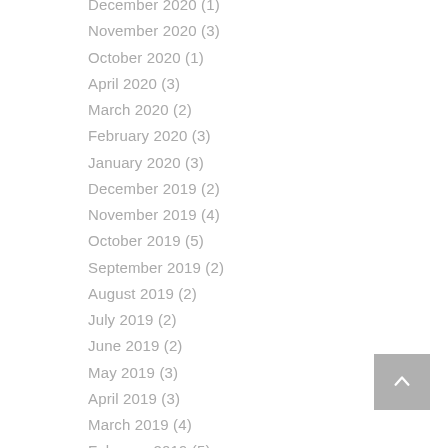December 2020 (1)
November 2020 (3)
October 2020 (1)
April 2020 (3)
March 2020 (2)
February 2020 (3)
January 2020 (3)
December 2019 (2)
November 2019 (4)
October 2019 (5)
September 2019 (2)
August 2019 (2)
July 2019 (2)
June 2019 (2)
May 2019 (3)
April 2019 (3)
March 2019 (4)
February 2019 (5)
January 2019 (3)
December 2018 (2)
November 2018 (4)